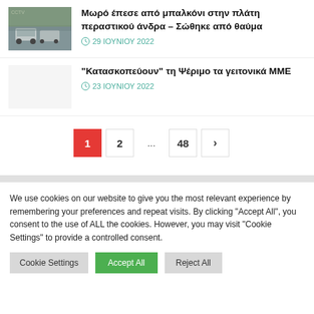[Figure (photo): Thumbnail image showing a street scene with cars, CCTV-style footage]
Μωρό έπεσε από μπαλκόνι στην πλάτη περαστικού άνδρα – Σώθηκε από θαύμα
29 ΙΟΥΝΙΟΥ 2022
"Κατασκοπεύουν" τη Ψέριμο τα γειτονικά ΜΜΕ
23 ΙΟΥΝΙΟΥ 2022
1  2  ...  48  >
We use cookies on our website to give you the most relevant experience by remembering your preferences and repeat visits. By clicking "Accept All", you consent to the use of ALL the cookies. However, you may visit "Cookie Settings" to provide a controlled consent.
Cookie Settings  Accept All  Reject All